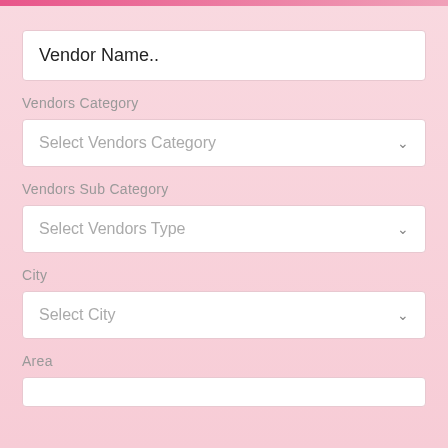Vendor Name..
Vendors Category
Select Vendors Category
Vendors Sub Category
Select Vendors Type
City
Select City
Area